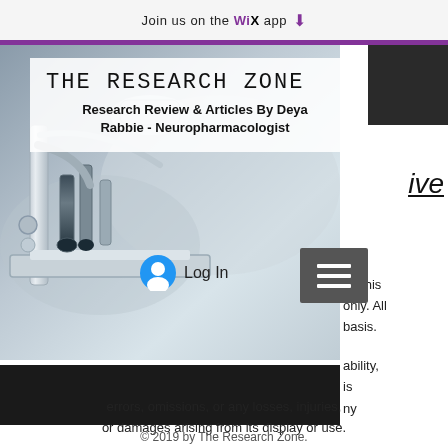Join us on the WiX app ⬇
[Figure (photo): Close-up photograph of a laboratory microscope with metallic objective lenses and stage, set against a blurred grey background]
THE RESEARCH ZONE
Research Review & Articles By Deya Rabbie - Neuropharmacologist
ive
Log In
on this only. All basis.
ability, is ny
errors, omissions, or any losses, injuries, or damages arising from its display or use.
© 2019 by The Research Zone.